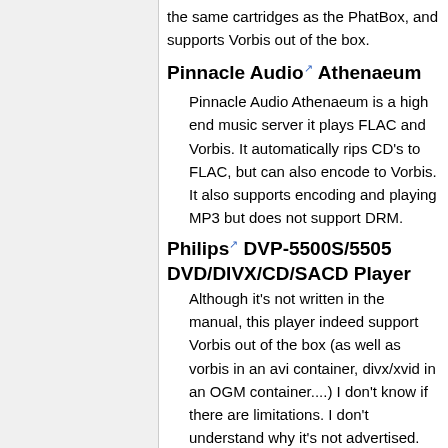the same cartridges as the PhatBox, and supports Vorbis out of the box.
Pinnacle Audio Athenaeum
Pinnacle Audio Athenaeum is a high end music server it plays FLAC and Vorbis. It automatically rips CD's to FLAC, but can also encode to Vorbis. It also supports encoding and playing MP3 but does not support DRM.
Philips DVP-5500S/5505 DVD/DIVX/CD/SACD Player
Although it's not written in the manual, this player indeed support Vorbis out of the box (as well as vorbis in an avi container, divx/xvid in an OGM container....) I don't know if there are limitations. I don't understand why it's not advertised.